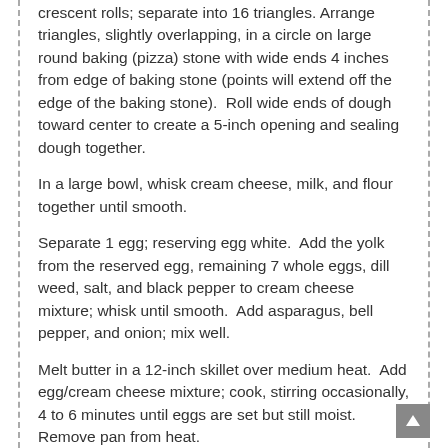crescent rolls; separate into 16 triangles. Arrange triangles, slightly overlapping, in a circle on large round baking (pizza) stone with wide ends 4 inches from edge of baking stone (points will extend off the edge of the baking stone). Roll wide ends of dough toward center to create a 5-inch opening and sealing dough together.
In a large bowl, whisk cream cheese, milk, and flour together until smooth.
Separate 1 egg; reserving egg white. Add the yolk from the reserved egg, remaining 7 whole eggs, dill weed, salt, and black pepper to cream cheese mixture; whisk until smooth. Add asparagus, bell pepper, and onion; mix well.
Melt butter in a 12-inch skillet over medium heat. Add egg/cream cheese mixture; cook, stirring occasionally, 4 to 6 minutes until eggs are set but still moist. Remove pan from heat.
Scoop egg mixture evenly over dough in a continuous circle. Sprinkle with shredded cheddar cheese. Bring points of triangles up over filling and